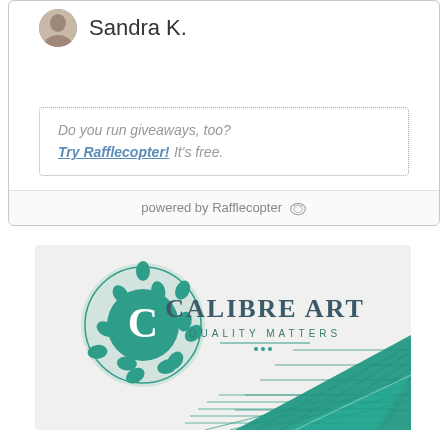Sandra K.
Do you run giveaways, too? Try Rafflecopter! It's free.
powered by Rafflecopter
[Figure (logo): Calibre Art logo with teal ornamental circle containing the letter C, text CALIBRE ART QUALITY MATTERS, and teal cutting mats in the background]